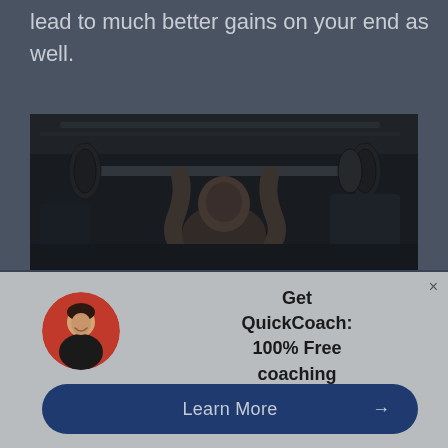lead to much better gains on your end as well.
[Figure (photo): A man performing a barbell overhead press or bench press in a gym, photographed from below, black and white/dark toned image]
Get QuickCoach: 100% Free coaching software.
Learn More →